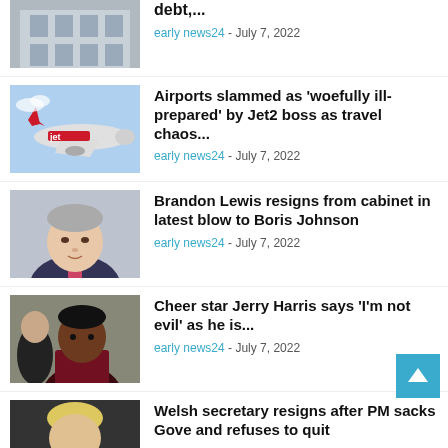[Figure (photo): Building/architecture photo (partial, cropped at top)]
debt,...
early news24 - July 7, 2022
[Figure (photo): Jet2 airplane in flight with red livery]
Airports slammed as 'woefully ill-prepared' by Jet2 boss as travel chaos...
early news24 - July 7, 2022
[Figure (photo): Brandon Lewis headshot]
Brandon Lewis resigns from cabinet in latest blow to Boris Johnson
early news24 - July 7, 2022
[Figure (photo): Jerry Harris photo]
Cheer star Jerry Harris says 'I'm not evil' as he is...
early news24 - July 7, 2022
[Figure (photo): Welsh secretary / PM photo (partial at bottom)]
Welsh secretary resigns after PM sacks Gove and refuses to quit